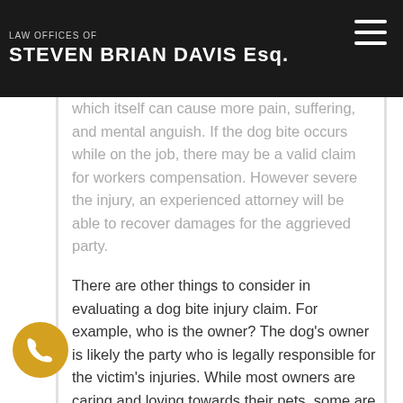LAW OFFICES OF STEVEN BRIAN DAVIS Esq.
which itself can cause more pain, suffering, and mental anguish. If the dog bite occurs while on the job, there may be a valid claim for workers compensation. However severe the injury, an experienced attorney will be able to recover damages for the aggrieved party.
There are other things to consider in evaluating a dog bite injury claim. For example, who is the owner? The dog's owner is likely the party who is legally responsible for the victim's injuries. While most owners are caring and loving towards their pets, some are abusive and/or neglectful, leading to violent behavior. It is the owner's responsibility to properly restrain their